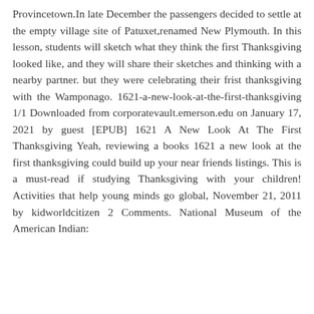Provincetown.In late December the passengers decided to settle at the empty village site of Patuxet,renamed New Plymouth. In this lesson, students will sketch what they think the first Thanksgiving looked like, and they will share their sketches and thinking with a nearby partner. but they were celebrating their frist thanksgiving with the Wamponago. 1621-a-new-look-at-the-first-thanksgiving 1/1 Downloaded from corporatevault.emerson.edu on January 17, 2021 by guest [EPUB] 1621 A New Look At The First Thanksgiving Yeah, reviewing a books 1621 a new look at the first thanksgiving could build up your near friends listings. This is a must-read if studying Thanksgiving with your children! Activities that help young minds go global, November 21, 2011 by kidworldcitizen 2 Comments. National Museum of the American Indian: